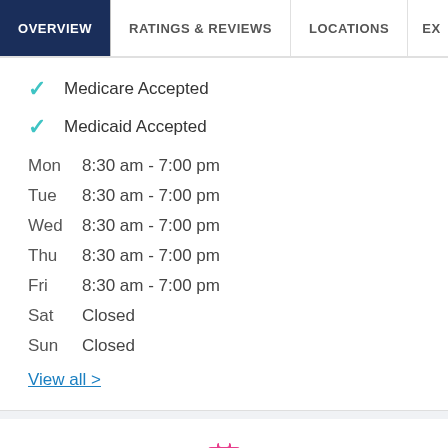OVERVIEW | RATINGS & REVIEWS | LOCATIONS | EX
✓ Medicare Accepted
✓ Medicaid Accepted
Mon   8:30 am - 7:00 pm
Tue   8:30 am - 7:00 pm
Wed   8:30 am - 7:00 pm
Thu   8:30 am - 7:00 pm
Fri   8:30 am - 7:00 pm
Sat   Closed
Sun   Closed
View all >
CONDITIONS TREATED